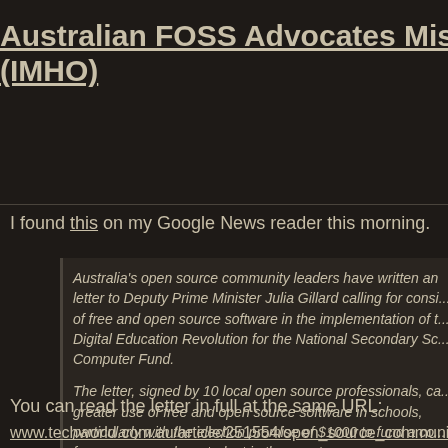Australian FOSS Advocates Miss-a-T... (IMHO)
I found this on my Google News reader this morning.
Australia's open source community leaders have written an letter to Deputy Prime Minister Julia Gillard calling for consideration of free and open source software in the implementation of the Digital Education Revolution for the National Secondary School Computer Fund.

The letter, signed by 10 local open source professionals, calls for greater use of free and open source software in schools, particularly with the election promise of $1000 to fund a computer for every secondary student in the country.
You can read the letter in full at the same URL:
www.techworld.com.au/article/251554/open_source_communi...